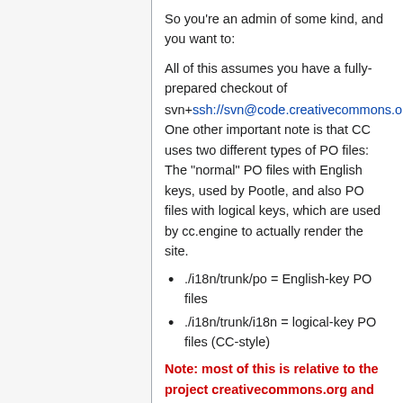So you're an admin of some kind, and you want to:
All of this assumes you have a fully-prepared checkout of svn+ssh://svn@code.creativecommons.org/svnroot/i18n/trunk. One other important note is that CC uses two different types of PO files: The "normal" PO files with English keys, used by Pootle, and also PO files with logical keys, which are used by cc.engine to actually render the site.
./i18n/trunk/po = English-key PO files
./i18n/trunk/i18n = logical-key PO files (CC-style)
Note: most of this is relative to the project creativecommons.org and may or may not apply to other